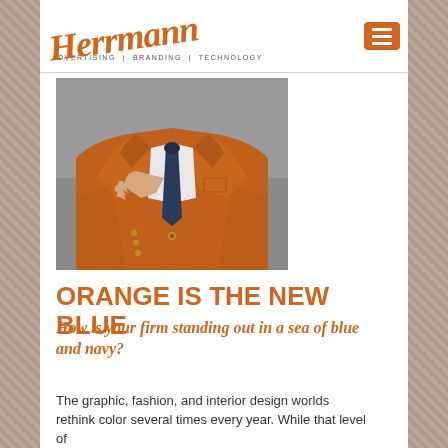Herrmann | ADVERTISING | BRANDING | TECHNOLOGY
[Figure (photo): Man wearing an orange blazer jacket with a dark navy tie, adjusting tie with one hand against a gray background.]
ORANGE IS THE NEW BLUE
How is your firm standing out in a sea of blue and navy?
The graphic, fashion, and interior design worlds rethink color several times every year. While that level of